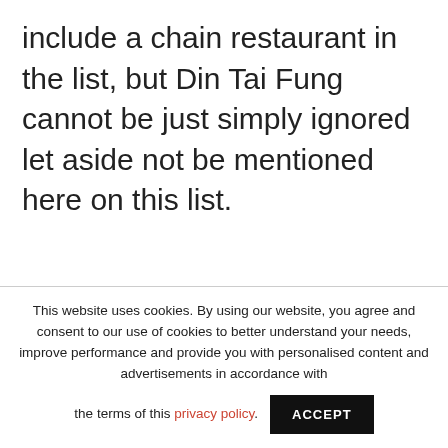include a chain restaurant in the list, but Din Tai Fung cannot be just simply ignored let aside not be mentioned here on this list.
This website uses cookies. By using our website, you agree and consent to our use of cookies to better understand your needs, improve performance and provide you with personalised content and advertisements in accordance with the terms of this privacy policy.